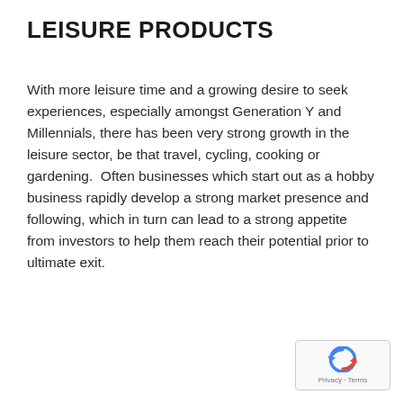LEISURE PRODUCTS
With more leisure time and a growing desire to seek experiences, especially amongst Generation Y and Millennials, there has been very strong growth in the leisure sector, be that travel, cycling, cooking or gardening.  Often businesses which start out as a hobby business rapidly develop a strong market presence and following, which in turn can lead to a strong appetite from investors to help them reach their potential prior to ultimate exit.
[Figure (logo): reCAPTCHA badge with Google logo and Privacy - Terms text]